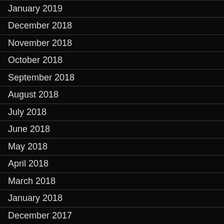January 2019
December 2018
November 2018
October 2018
September 2018
August 2018
July 2018
June 2018
May 2018
April 2018
March 2018
January 2018
December 2017